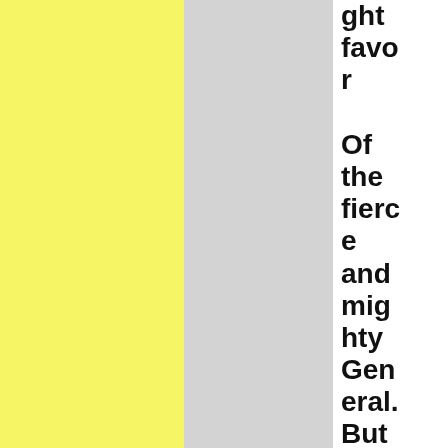ght favor Of the fierce and mighty General. But when He found the camp